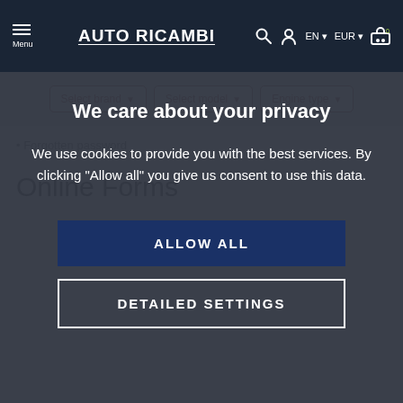AUTO RICAMBI – navigation bar with Menu, logo, search, user, EN, EUR, cart
[Figure (screenshot): Filter bar with Select brand, Select model, Engine type dropdowns]
We care about your privacy
We use cookies to provide you with the best services. By clicking "Allow all" you give us consent to use this data.
ALLOW ALL
DETAILED SETTINGS
Forgotten password
Online Forms